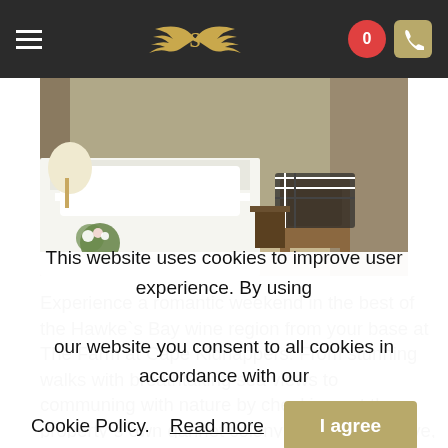Navigation header with hamburger menu, winged-S logo, heart icon (0), and phone icon
[Figure (photo): Interior photo of a luxury lodge bedroom with a white bed, wicker chairs, a lamp, and flowers]
Experience a romantic weekend in the best of the Hawke`s Bay wine region from your base at The Farm at Cape Kidnappers. From stunning walks with breathtaking sea views to communing with nature by checking out the property`s own gannet colony or its kiwi reserve, Cape Kidnappers has it all. Relax over a spa treatment and beautiful lodge meals featuring seasonal produce sourced locally and from the farm.
This website uses cookies to improve user experience. By using our website you consent to all cookies in accordance with our Cookie Policy. Read more  I agree